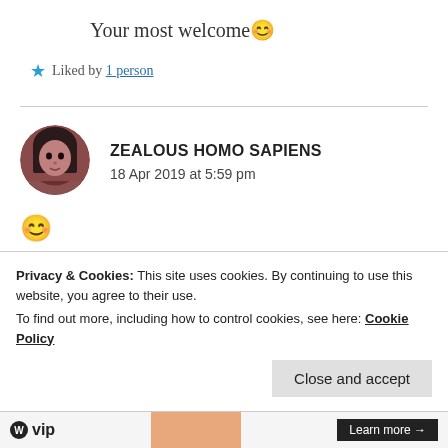Your most welcome 😊
★ Liked by 1 person
ZEALOUS HOMO SAPIENS
18 Apr 2019 at 5:59 pm
[Figure (photo): Round avatar of a person with dark hair and brown/mauve tones]
😊
★ Like
Privacy & Cookies: This site uses cookies. By continuing to use this website, you agree to their use.
To find out more, including how to control cookies, see here: Cookie Policy
Close and accept